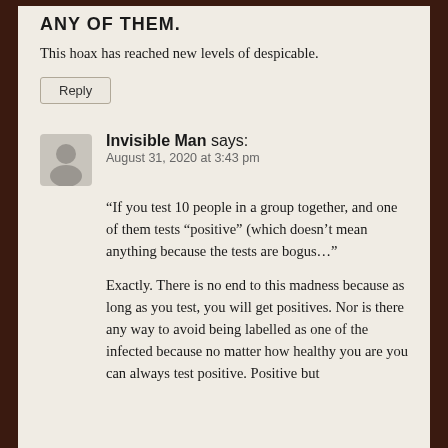ANY OF THEM.
This hoax has reached new levels of despicable.
Reply
Invisible Man says:
August 31, 2020 at 3:43 pm
“If you test 10 people in a group together, and one of them tests “positive” (which doesn’t mean anything because the tests are bogus…”
Exactly. There is no end to this madness because as long as you test, you will get positives. Nor is there any way to avoid being labelled as one of the infected because no matter how healthy you are you can always test positive. Positive but “asymptomatic” These people deserve